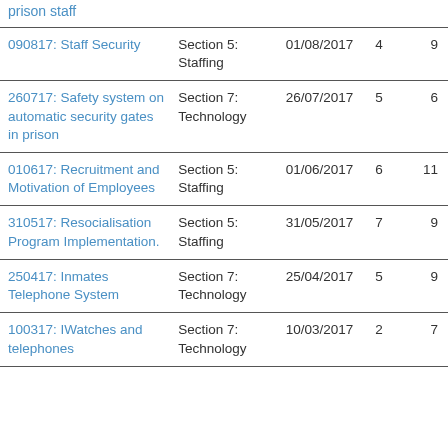| prison staff |  |  |  |  |
| 090817: Staff Security | Section 5: Staffing | 01/08/2017 | 4 | 9 |
| 260717: Safety system on automatic security gates in prison | Section 7: Technology | 26/07/2017 | 5 | 6 |
| 010617: Recruitment and Motivation of Employees | Section 5: Staffing | 01/06/2017 | 6 | 11 |
| 310517: Resocialisation Program Implementation. | Section 5: Staffing | 31/05/2017 | 7 | 9 |
| 250417: Inmates Telephone System | Section 7: Technology | 25/04/2017 | 5 | 9 |
| 100317: IWatches and telephones | Section 7: Technology | 10/03/2017 | 2 | 7 |